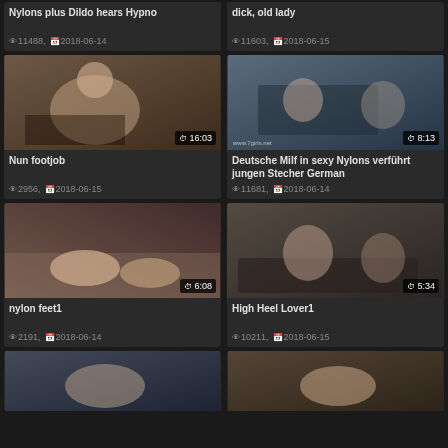[Figure (screenshot): Video thumbnail grid showing adult content video listings with titles, view counts, and dates]
Nylons plus Dildo hears Hypno
11488, 2018-06-14
dick, old lady
11603, 2018-06-15
[Figure (photo): Video thumbnail 16:03]
Nun footjob
2956, 2018-06-15
[Figure (photo): Video thumbnail 8:13]
Deutsche Milf in sexy Nylons verführt jungen Stecher German
11681, 2018-06-14
[Figure (photo): Video thumbnail 6:08]
nylon feet1
2191, 2018-06-14
[Figure (photo): Video thumbnail 5:34]
High Heel Lover1
10211, 2018-06-15